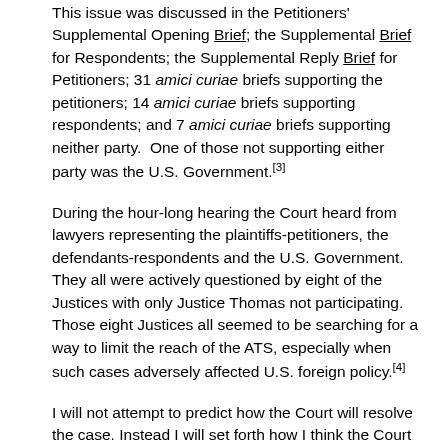This issue was discussed in the Petitioners' Supplemental Opening Brief; the Supplemental Brief for Respondents; the Supplemental Reply Brief for Petitioners; 31 amici curiae briefs supporting the petitioners; 14 amici curiae briefs supporting respondents; and 7 amici curiae briefs supporting neither party. One of those not supporting either party was the U.S. Government.[3]
During the hour-long hearing the Court heard from lawyers representing the plaintiffs-petitioners, the defendants-respondents and the U.S. Government. They all were actively questioned by eight of the Justices with only Justice Thomas not participating. Those eight Justices all seemed to be searching for a way to limit the reach of the ATS, especially when such cases adversely affected U.S. foreign policy.[4]
I will not attempt to predict how the Court will resolve the case. Instead I will set forth how I think the Court should